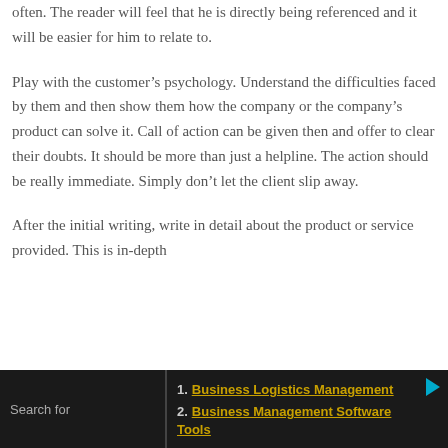often. The reader will feel that he is directly being referenced and it will be easier for him to relate to.
Play with the customer's psychology. Understand the difficulties faced by them and then show them how the company or the company's product can solve it. Call of action can be given then and offer to clear their doubts. It should be more than just a helpline. The action should be really immediate. Simply don't let the client slip away.
After the initial writing, write in detail about the product or service provided. This is in-depth
Search for
1. Business Logistics Management
2. Business Management Software Tools